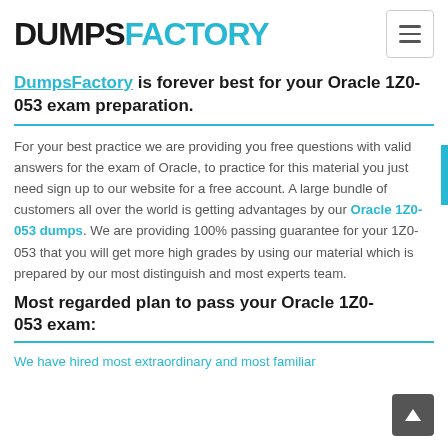DUMPSFACTORY
DumpsFactory is forever best for your Oracle 1Z0-053 exam preparation.
For your best practice we are providing you free questions with valid answers for the exam of Oracle, to practice for this material you just need sign up to our website for a free account. A large bundle of customers all over the world is getting advantages by our Oracle 1Z0-053 dumps. We are providing 100% passing guarantee for your 1Z0-053 that you will get more high grades by using our material which is prepared by our most distinguish and most experts team.
Most regarded plan to pass your Oracle 1Z0-053 exam:
We have hired most extraordinary and most familiar